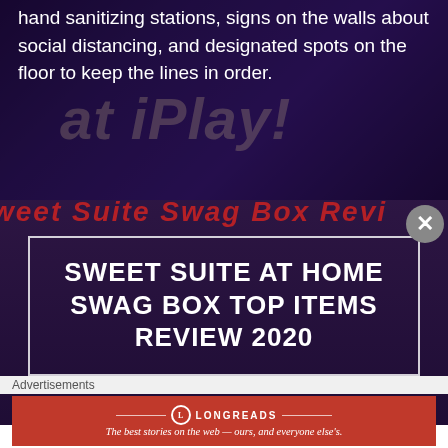hand sanitizing stations, signs on the walls about social distancing, and designated spots on the floor to keep the lines in order.
[Figure (photo): Background photo of an indoor entertainment venue with dark purple/blue lighting, showing a arcade/gaming area. Overlaid with large watermark text 'at iPlay!' in gray italic letters.]
[Figure (photo): Background image of a red-titled 'Sweet Suite Swag Box Review' banner, with a photo of a child and swag box items. Overlaid with a white-bordered box containing the title text.]
SWEET SUITE AT HOME SWAG BOX TOP ITEMS REVIEW 2020
Advertisements
[Figure (other): Longreads advertisement banner in red with white text: 'The best stories on the web — ours, and everyone else's.']